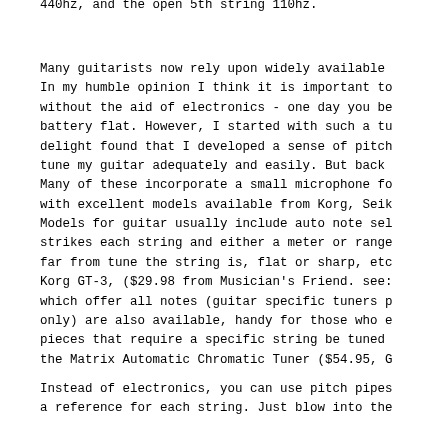440hz, and the open 5th string 110hz.
Many guitarists now rely upon widely available electronic tuners. In my humble opinion I think it is important to be able to tune without the aid of electronics - one day you be may caught with a battery flat. However, I started with such a tuner and to my delight found that I developed a sense of pitch, and could in fact tune my guitar adequately and easily. But back to the tuners. Many of these incorporate a small microphone for acoustic guitars, with excellent models available from Korg, Seiko and others. Models for guitar usually include auto note selection - you simply strikes each string and either a meter or range of LEDs shows how far from tune the string is, flat or sharp, etc. An example is the Korg GT-3, ($29.98 from Musician's Friend. see: links) Tuners which offer all notes (guitar specific tuners provide guitar notes only) are also available, handy for those who explore pieces that require a specific string be tuned differently, eg the Matrix Automatic Chromatic Tuner ($54.95, G
Instead of electronics, you can use pitch pipes which provide a reference for each string. Just blow into the